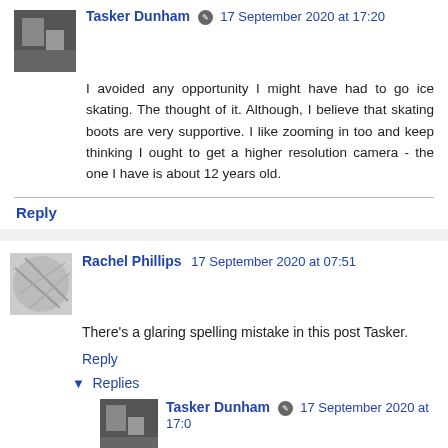Tasker Dunham 17 September 2020 at 17:20 (comment header)
I avoided any opportunity I might have had to go ice skating. The thought of it. Although, I believe that skating boots are very supportive. I like zooming in too and keep thinking I ought to get a higher resolution camera - the one I have is about 12 years old.
Reply
Rachel Phillips 17 September 2020 at 07:51
There's a glaring spelling mistake in this post Tasker.
Reply
Replies
Tasker Dunham 17 September 2020 at 17:0...